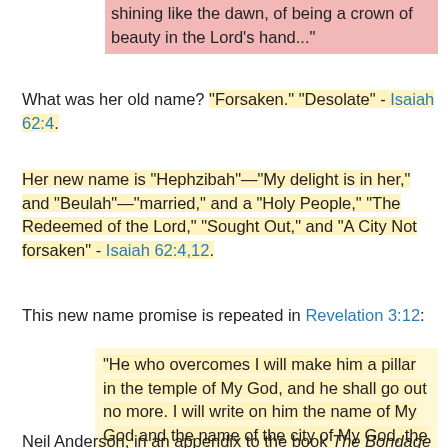shining like the dawn, of being a crown of beauty in the Lord's hand..."
What was her old name? "Forsaken." "Desolate" - Isaiah 62:4.
Her new name is "Hephzibah"—"My delight is in her," and "Beulah"—"married," and a "Holy People," "The Redeemed of the Lord," "Sought Out," and "A City Not forsaken" - Isaiah 62:4,12.
This new name promise is repeated in Revelation 3:12:
"He who overcomes I will make him a pillar in the temple of My God, and he shall go out no more. I will write on him the name of My God and the name of the city of My God, the New Jerusalem... And I will write on him My new name."
Neil Anderson, in an appendix to the book The Bondage